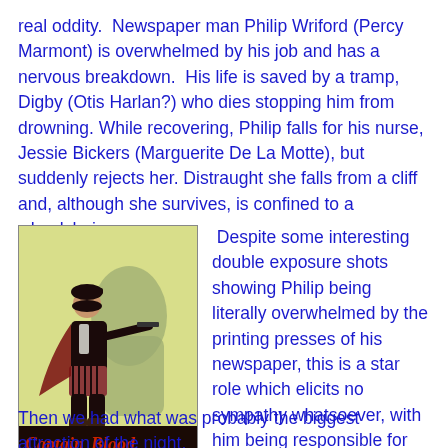real oddity.  Newspaper man Philip Wriford (Percy Marmont) is overwhelmed by his job and has a nervous breakdown.  His life is saved by a tramp, Digby (Otis Harlan?) who dies stopping him from drowning. While recovering, Philip falls for his nurse, Jessie Bickers (Marguerite De La Motte), but suddenly rejects her. Distraught she falls from a cliff and, although she survives, is confined to a wheelchair.  Despite some interesting double exposure shots showing Philip being literally overwhelmed by the printing presses of his newspaper, this is a star role which elicits no sympathy whatsoever, with him being responsible for the death of the jovial tramp and the crippling of his caring girlfriend.  Clearly it is the star who is the cad here!
[Figure (illustration): Movie poster for 'Captain Blood' featuring a figure in pirate-like costume with a gun, against a yellow-green background with a shadow silhouette. Text reads 'CaptainBlood' with 'J. Warren Kerrigan and Jean Paige']
Then we had what was probably the biggest attraction of the night,